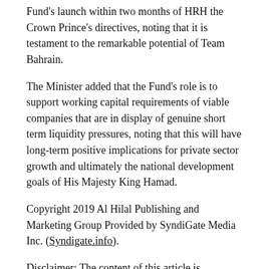Fund's launch within two months of HRH the Crown Prince's directives, noting that it is testament to the remarkable potential of Team Bahrain.
The Minister added that the Fund's role is to support working capital requirements of viable companies that are in display of genuine short term liquidity pressures, noting that this will have long-term positive implications for private sector growth and ultimately the national development goals of His Majesty King Hamad.
Copyright 2019 Al Hilal Publishing and Marketing Group Provided by SyndiGate Media Inc. (Syndigate.info).
Disclaimer: The content of this article is syndicated or provided to this website from an external third party provider. We are not responsible for, and do not control, such external websites, entities, applications or media publishers. The body of the text is provided on an "as is" and "as available"